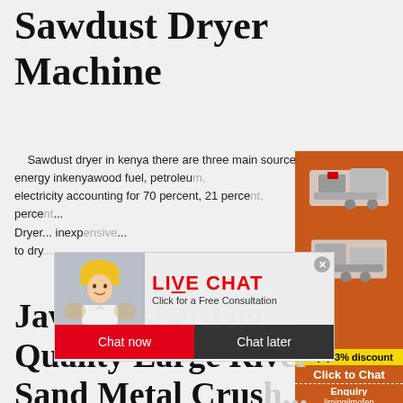Sawdust Dryer Machine
Sawdust dryer in kenya there are three main sources of energy inkenyawood fuel, petroleum, electricity accounting for 70 percent, 21 perce... Dryer inexp... to dry...
[Figure (photo): Orange sidebar panel with machinery images (jaw crusher / large river sand metal crusher equipment photos)]
[Figure (screenshot): Live chat popup overlay with person in hard hat, LIVE CHAT text in red, Click for a Free Consultation subtitle, Chat now (red) and Chat later (dark) buttons, close button]
Jaw Crusher|High Quality Large River Sand Metal Crush...
...
Enjoy 3% discount
Click to Chat
Enquiry
limingjlmofen@sina.com